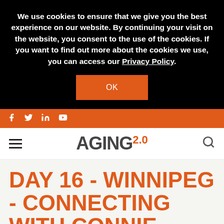We use cookies to ensure that we give you the best experience on our website. By continuing your visit on the website, you consent to the use of the cookies. If you want to find out more about the cookies we use, you can access our Privacy Policy.
OK
Social bar with Facebook, Twitter, LinkedIn, YouTube icons
[Figure (logo): Aging 2.0 logo — AGING in dark gray bold with orange 2.0 superscript]
DAY 16 - WINNIPEG - CONNECTING WITH CONNIE